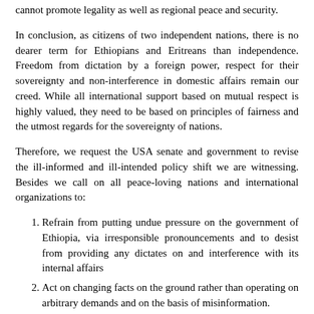cannot promote legality as well as regional peace and security.
In conclusion, as citizens of two independent nations, there is no dearer term for Ethiopians and Eritreans than independence. Freedom from dictation by a foreign power, respect for their sovereignty and non-interference in domestic affairs remain our creed. While all international support based on mutual respect is highly valued, they need to be based on principles of fairness and the utmost regards for the sovereignty of nations.
Therefore, we request the USA senate and government to revise the ill-informed and ill-intended policy shift we are witnessing. Besides we call on all peace-loving nations and international organizations to:
Refrain from putting undue pressure on the government of Ethiopia, via irresponsible pronouncements and to desist from providing any dictates on and interference with its internal affairs
Act on changing facts on the ground rather than operating on arbitrary demands and on the basis of misinformation.